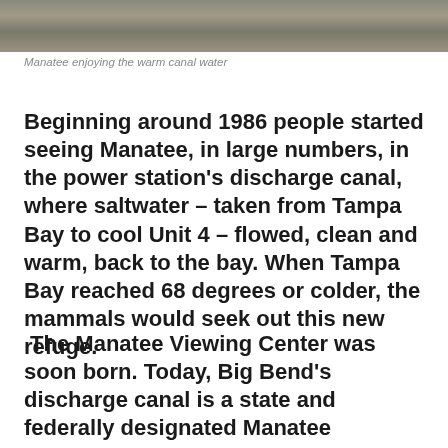[Figure (photo): Partial photograph of a manatee in warm canal water, cropped at top of page]
Manatee enjoying the warm canal water
Beginning around 1986 people started seeing Manatee, in large numbers, in the power station’s discharge canal, where saltwater – taken from Tampa Bay to cool Unit 4 – flowed, clean and warm, back to the bay. When Tampa Bay reached 68 degrees or colder, the mammals would seek out this new refuge.
The Manatee Viewing Center was soon born. Today, Big Bend’s discharge canal is a state and federally designated Manatee sanctuary that provides critical